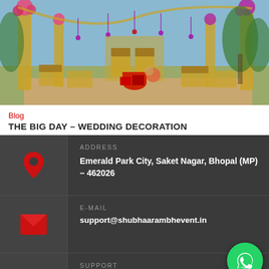[Figure (photo): Indian wedding decoration setup with mandap, golden pillars, floral arrangements, outdoor venue with trees in background]
Blog
THE BIG DAY – WEDDING DECORATION
ADDRESS
Emerald Park City, Saket Nagar, Bhopal (MP) – 462026
E-MAIL
support@shubhaarambhevent.in
SUPPORT